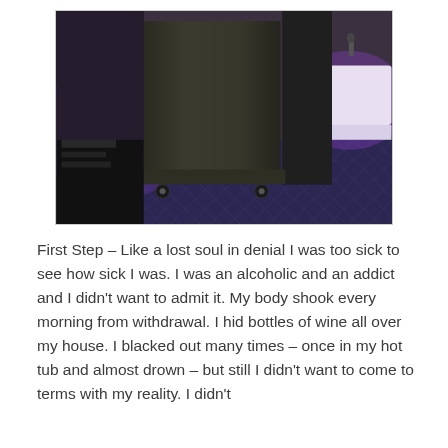[Figure (photo): A photograph showing a large dark speaker cabinet on casters/wheels on a patterned carpet floor, with a black draped cloth beside it and a purple-lit event/banquet room in the background with white tablecloths visible.]
First Step – Like a lost soul in denial I was too sick to see how sick I was. I was an alcoholic and an addict and I didn't want to admit it. My body shook every morning from withdrawal. I hid bottles of wine all over my house. I blacked out many times – once in my hot tub and almost drown – but still I didn't want to come to terms with my reality. I didn't